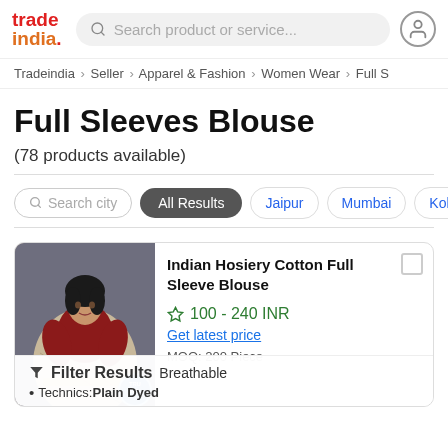trade india. | Search product or service...
Tradeindia > Seller > Apparel & Fashion > Women Wear > Full S
Full Sleeves Blouse
(78 products available)
Search city | All Results | Jaipur | Mumbai | Kolkat
[Figure (photo): Woman wearing a saree with a red blouse, product listing image for Indian Hosiery Cotton Full Sleeve Blouse]
Indian Hosiery Cotton Full Sleeve Blouse
100 - 240 INR
Get latest price
MOQ: 200 Piece
Breathable
Technics:Plain Dyed
Filter Results | Technics:Plain Dyed